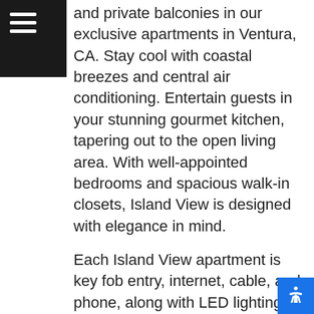≡
and private balconies in our exclusive apartments in Ventura, CA. Stay cool with coastal breezes and central air conditioning. Entertain guests in your stunning gourmet kitchen, tapering out to the open living area. With well-appointed bedrooms and spacious walk-in closets, Island View is designed with elegance in mind.
Each Island View apartment is key fob entry, internet, cable, and phone, along with LED lighting and built-in energy efficiencies. Our homes are fully equipped with full-size front load washer/dryers, gorgeous stainless-steel fingerprint resistant appliances, quartz countertops, and wood-style designer floors. With 8 unique floor plans, it's easy to find an Island View home perfectly tailored to fit your lifestyle.